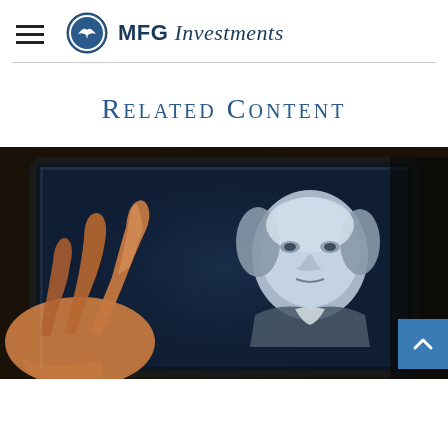MFG Investments
Related Content
[Figure (photo): A hand touching a tablet screen displaying an engraved portrait of Benjamin Franklin, shown against a dark background. Fingers are reaching toward the glowing screen with the historical figure's detailed illustration visible.]